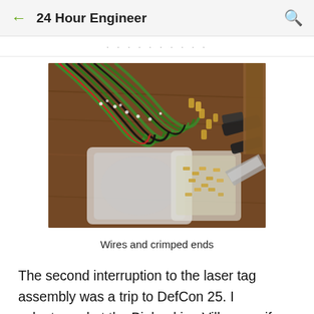24 Hour Engineer
[Figure (photo): Photo of multiple green and black wires with crimped ends laid out on a wooden table, alongside plastic bags containing small metal components and a pair of wire crimping pliers.]
Wires and crimped ends
The second interruption to the laser tag assembly was a trip to DefCon 25. I volunteered at the Biohacking Village so if you were there, there's a